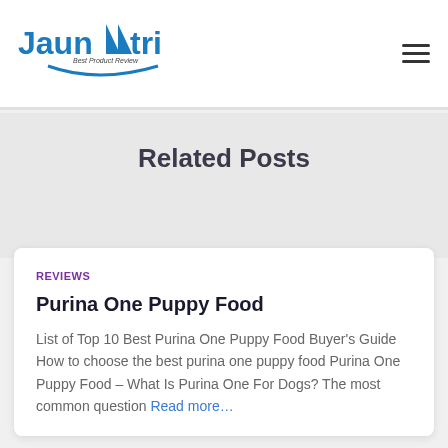Jaunatri — Best Product Review
Related Posts
REVIEWS
Purina One Puppy Food
List of Top 10 Best Purina One Puppy Food Buyer's Guide How to choose the best purina one puppy food Purina One Puppy Food – What Is Purina One For Dogs? The most common question Read more...